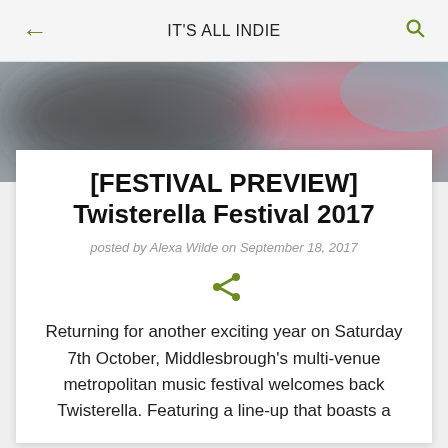IT'S ALL INDIE
[Figure (photo): Blurred background hero image with dark and reddish-pink tones]
[FESTIVAL PREVIEW] Twisterella Festival 2017
posted by Alexa Wilde on September 18, 2017
[Figure (other): Share icon (less-than style share symbol in olive green)]
Returning for another exciting year on Saturday 7th October, Middlesbrough's multi-venue metropolitan music festival welcomes back Twisterella. Featuring a line-up that boasts a